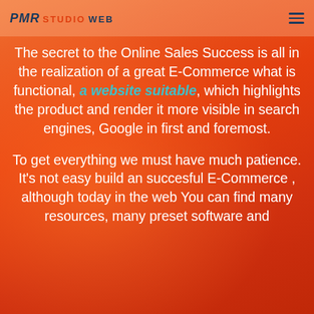PMR STUDIO WEB
The secret to the Online Sales Success is all in the realization of a great E-Commerce what is functional, a website suitable, which highlights the product and render it more visible in search engines, Google in first and foremost.
To get everything we must have much patience. It's not easy build an succesful E-Commerce , although today in the web You can find many resources, many preset software and PMR ...